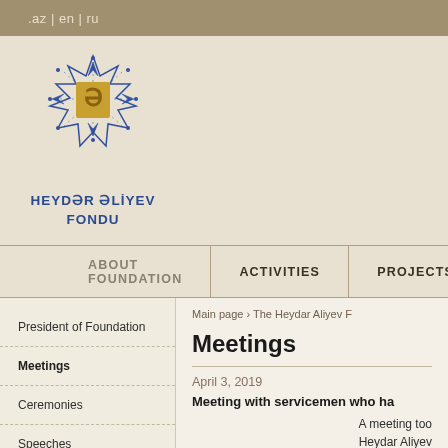.az | en | ru
[Figure (logo): Heydar Aliyev Foundation logo — blue geometric star with gold emblem in center]
HEYDƏR ƏLİYEV FONDU
ABOUT FOUNDATION | ACTIVITIES | PROJECTS
President of Foundation
Meetings
Ceremonies
Speeches
Main page › The Heydar Aliyev F
Meetings
April 3, 2019
Meeting with servicemen who ha
A meeting too Heydar Aliyev April battle we Republic of A